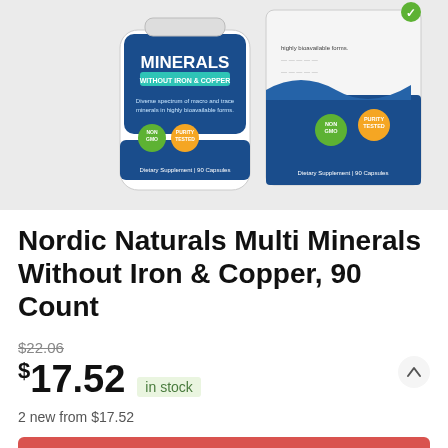[Figure (photo): Nordic Naturals Multi Minerals supplement bottle and box product image on light grey background]
Nordic Naturals Multi Minerals Without Iron & Copper, 90 Count
$22.06 (strikethrough original price)
$17.52 in stock
2 new from $17.52
BUY NOW
Amazon.com